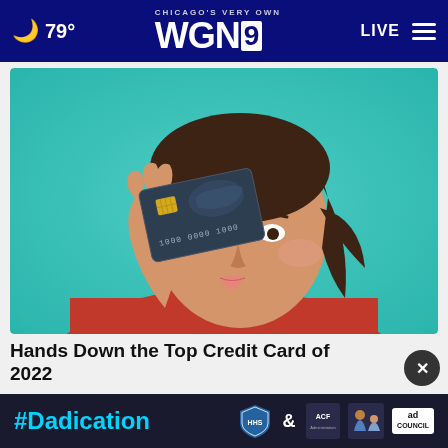CHICAGO'S VERY OWN WGN9 — 79° — LIVE
[Figure (photo): Young woman with short dark hair wearing a red turtleneck sweater, holding a dark credit card up to cover one eye, posing against a teal/turquoise background]
Hands Down the Top Credit Card of 2022
CompareCredit
[Figure (infographic): #Dadication ad banner with HHS, ACF, National Responsible Fatherhood Clearinghouse logos and Ad Council logo]